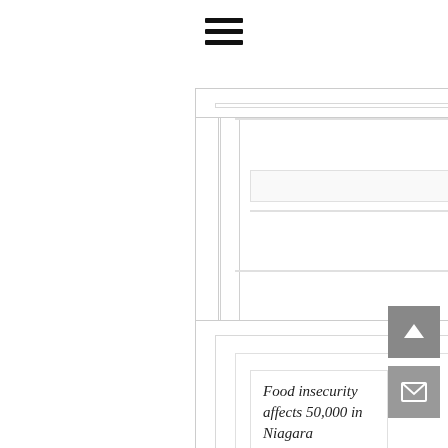[Figure (other): Hamburger menu icon with three horizontal bars, centered near top of page]
[Figure (other): Nested card/frame UI elements in upper section — multiple layered rectangular outlines suggesting a web interface scaffold]
Food insecurity affects 50,000 in Niagara
[Figure (other): Nested card/frame UI elements in lower section continuing below headline]
[Figure (other): Scroll-to-top arrow button (grey square with upward arrow)]
[Figure (other): Email/envelope button (grey square with envelope icon)]